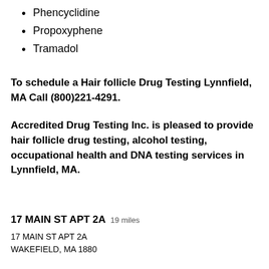Phencyclidine
Propoxyphene
Tramadol
To schedule a Hair follicle Drug Testing Lynnfield, MA Call (800)221-4291.
Accredited Drug Testing Inc. is pleased to provide hair follicle drug testing, alcohol testing, occupational health and DNA testing services in Lynnfield, MA.
17 MAIN ST APT 2A  19 miles
17 MAIN ST APT 2A
WAKEFIELD, MA 1880